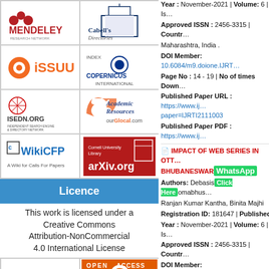[Figure (logo): Mendeley logo]
[Figure (logo): Cabell's Directories logo]
[Figure (logo): ISSUU logo]
[Figure (logo): Index Copernicus International logo]
[Figure (logo): ISEDN.ORG logo]
[Figure (logo): Academic Resources ourGlocal.com logo]
[Figure (logo): WikiCFP logo]
[Figure (logo): arXiv.org / Cornell University Library logo]
Licence
This work is licensed under a Creative Commons Attribution-NonCommercial 4.0 International License
[Figure (logo): ISSN - International Standard Serial Number badge]
[Figure (logo): Open Access badge]
[Figure (logo): Peer Review Process badge]
[Figure (logo): Creative Commons logo]
Year : November-2021 | Volume: 6 | Is...
Approved ISSN : 2456-3315 | Countr...
Maharashtra, India .
DOI Member: 10.6084/m9.doione.IJRT...
Page No : 14 - 19 | No of times Down...
Published Paper URL : https://www.ij... paper=IJRTI2111003
Published Paper PDF : https://www.ij...
IMPACT OF WEB SERIES IN OTT... BHUBANESWAR...
Authors: Debasis... Somabhus... Ranjan Kumar Kantha, Binita Majhi
Registration ID: 181647 | Published
Year : November-2021 | Volume: 6 | Is...
Approved ISSN : 2456-3315 | Countr...
DOI Member: 10.6084/m9.doione.IJRT...
Page No : 8 - 13 | No of times Downl...
Published Paper URL : https://www.ij... paper=IJRTI2111002